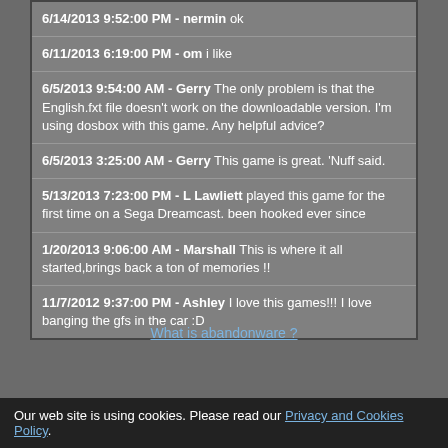6/14/2013 9:52:00 PM - nermin ok
6/11/2013 6:19:00 PM - om i like
6/5/2013 9:54:00 AM - Gerry The only problem is that the English.fxt file doesn't work on the downloadable version. I'm using dosbox with this game. Any helpful advice?
6/5/2013 3:25:00 AM - Gerry This game is great. 'Nuff said.
5/13/2013 7:23:00 PM - L Lawliett played this game for the first time on a Sega Dreamcast. been hooked ever since
1/20/2013 9:06:00 AM - Marshall This is where it all started,brings back a ton of memories !!
11/7/2012 9:37:00 PM - Ashley I love this games!!! I love banging the gfs in the car :D
What is abandonware ?
Our web site is using cookies. Please read our Privacy and Cookies Policy.